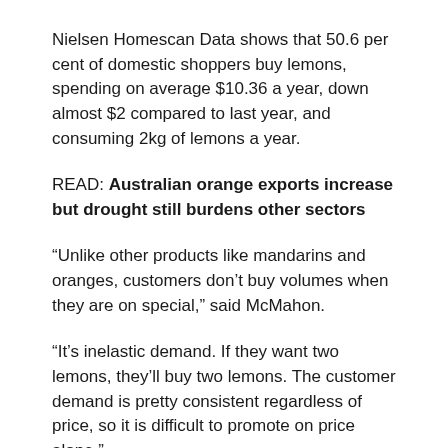Nielsen Homescan Data shows that 50.6 per cent of domestic shoppers buy lemons, spending on average $10.36 a year, down almost $2 compared to last year, and consuming 2kg of lemons a year.
READ: Australian orange exports increase but drought still burdens other sectors
“Unlike other products like mandarins and oranges, customers don’t buy volumes when they are on special,” said McMahon.
“It’s inelastic demand. If they want two lemons, they’ll buy two lemons. The customer demand is pretty consistent regardless of price, so it is difficult to promote on price alone.”
Lemon sales spike during Easter in line with fish sales, and they spike again during Greek Easter, said McMahon.
Promotion targeting these special occasions, as well as the